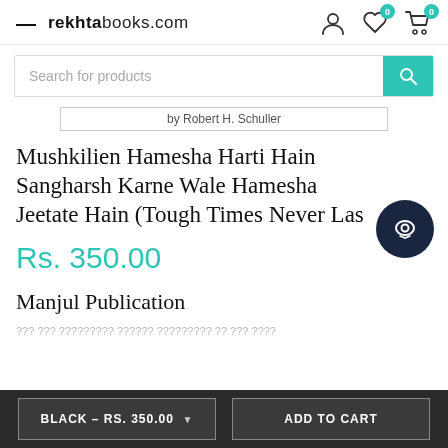rekhtabooks.com
Search for products
by Robert H. Schuller
Mushkilien Hamesha Harti Hain Sangharsh Karne Wale Hamesha Jeetate Hain (Tough Times Never Las
Rs. 350.00
Manjul Publication
??? ??? ????????? ?????? ????????? ?? ??? ????
BLACK – RS. 350.00   ADD TO CART